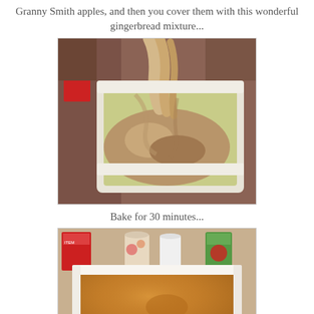Granny Smith apples, and then you cover them with this wonderful gingerbread mixture...
[Figure (photo): Photo of gingerbread batter being poured over sliced Granny Smith apples in a white baking dish]
Bake for 30 minutes...
[Figure (photo): Photo of a finished baked gingerbread apple cake in a white rectangular baking dish, shown on a wooden surface with various food items in the background]